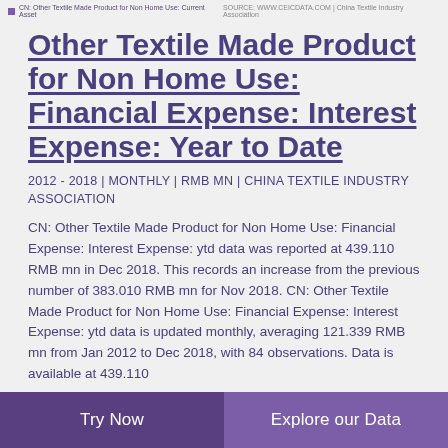CN: Other Textile Made Product for Non Home Use: Current Asset | SOURCE: WWW.CEICDATA.COM | China Textile Industry Association
Other Textile Made Product for Non Home Use: Financial Expense: Interest Expense: Year to Date
2012 - 2018 | MONTHLY | RMB MN | CHINA TEXTILE INDUSTRY ASSOCIATION
CN: Other Textile Made Product for Non Home Use: Financial Expense: Interest Expense: ytd data was reported at 439.110 RMB mn in Dec 2018. This records an increase from the previous number of 383.010 RMB mn for Nov 2018. CN: Other Textile Made Product for Non Home Use: Financial Expense: Interest Expense: ytd data is updated monthly, averaging 121.339 RMB mn from Jan 2012 to Dec 2018, with 84 observations. Data is available at 439.110
Try Now | Explore our Data